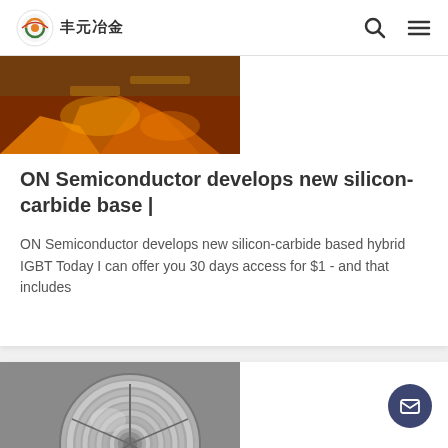丰元冶金
[Figure (photo): Industrial/metalworking image with orange glowing metal]
ON Semiconductor develops new silicon-carbide base |
ON Semiconductor develops new silicon-carbide based hybrid IGBT Today I can offer you 30 days access for $1 - and that includes
[Figure (photo): Coiled metallic wire or cable spool, silver/aluminum colored]
Cree to Invest US$1 Billion to Expand